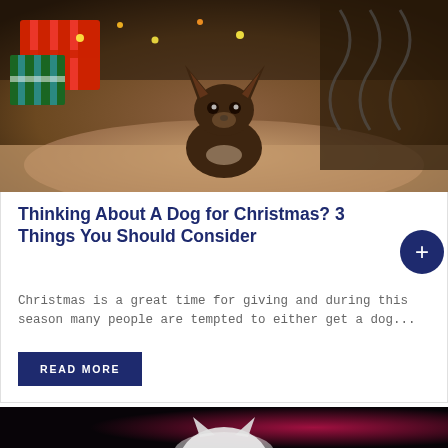[Figure (photo): A small Chihuahua puppy sitting on a brown cushion with colorful Christmas presents and lights in the background]
Thinking About A Dog for Christmas? 3 Things You Should Consider
Christmas is a great time for giving and during this season many people are tempted to either get a dog...
[Figure (photo): A white fluffy cat photographed against a dark background with a pink/magenta blur]